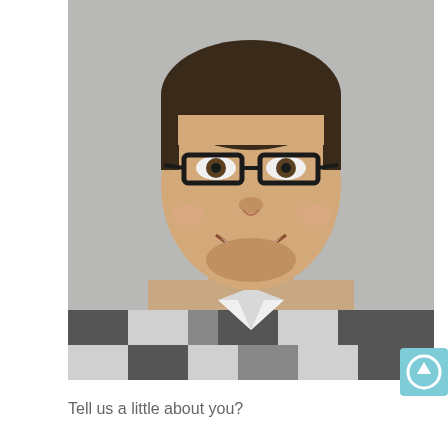[Figure (photo): Headshot photo of a young man with short dark hair, wearing black-rimmed glasses and a black and white plaid/flannel shirt, smiling, against a light gray background.]
[Figure (other): Light blue square button with a white circle and upward-pointing arrow icon in the center, positioned at the bottom-right area of the page.]
Tell us a little about you?